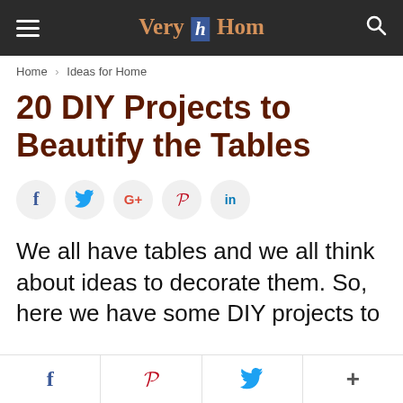Very h Hom
Home › Ideas for Home
20 DIY Projects to Beautify the Tables
[Figure (other): Social sharing buttons: Facebook (f), Twitter bird, Google+ (G+), Pinterest (P), LinkedIn (in)]
We all have tables and we all think about ideas to decorate them. So, here we have some DIY projects to
Social bar: f  P  Twitter bird  +